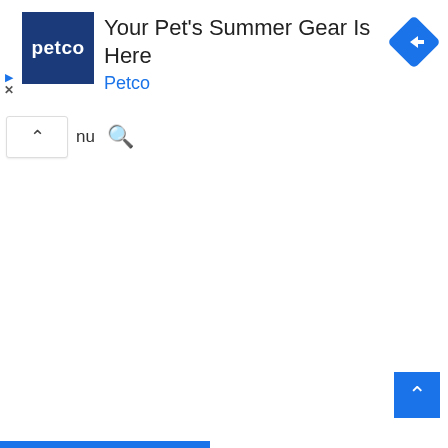[Figure (screenshot): Petco advertisement banner showing Petco logo (dark blue square with white 'petco' text), ad title 'Your Pet's Summer Gear Is Here', brand name 'Petco' in blue, a blue diamond-shaped arrow icon on the right, and small play/close icons on the left]
nu (partial menu text) and search icon in navigation bar with chevron up button
[Figure (screenshot): Blue scroll-to-top button with upward chevron in the bottom right corner]
[Figure (screenshot): Blue horizontal bar at the very bottom of the page]